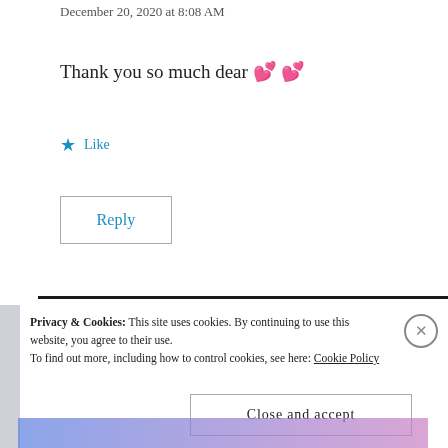December 20, 2020 at 8:08 AM
Thank you so much dear 💕💕
Like
Reply
Privacy & Cookies: This site uses cookies. By continuing to use this website, you agree to their use. To find out more, including how to control cookies, see here: Cookie Policy
Close and accept